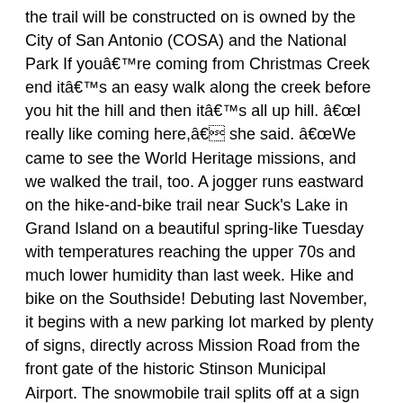the trail will be constructed on is owned by the City of San Antonio (COSA) and the National Park If youâre coming from Christmas Creek end itâs an easy walk along the creek before you hit the hill and then itâs all up hill. âI really like coming here,â she said. âWe came to see the World Heritage missions, and we walked the trail, too. A jogger runs eastward on the hike-and-bike trail near Suck's Lake in Grand Island on a beautiful spring-like Tuesday with temperatures reaching the upper 70s and much lower humidity than last week. Hike and bike on the Southside! Debuting last November, it begins with a new parking lot marked by plenty of signs, directly across Mission Road from the front gate of the historic Stinson Municipal Airport. The snowmobile trail splits off at a sign part way up the mountain where the trail becomes more of a scramble, climbing over roots and rocks to an open ledgy summit. San Antonio Airport System (SAAS) and San Antonio Parks and Recreation officials, along with City Councilwoman Rebecca Viagran, unveiled the new Stinson Hike and Bike Trail on November 1, 2019. The new trail design connects the historic Mission Trail